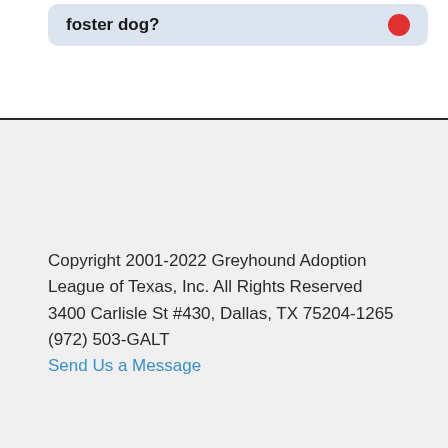foster dog?
Copyright 2001-2022 Greyhound Adoption League of Texas, Inc. All Rights Reserved
3400 Carlisle St #430, Dallas, TX 75204-1265
(972) 503-GALT
Send Us a Message